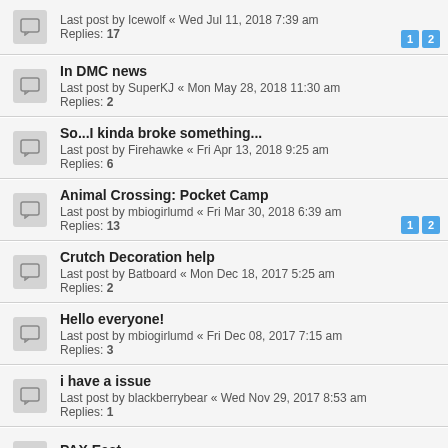Last post by Icewolf « Wed Jul 11, 2018 7:39 am
Replies: 17
In DMC news
Last post by SuperKJ « Mon May 28, 2018 11:30 am
Replies: 2
So...I kinda broke something...
Last post by Firehawke « Fri Apr 13, 2018 9:25 am
Replies: 6
Animal Crossing: Pocket Camp
Last post by mbiogirlumd « Fri Mar 30, 2018 6:39 am
Replies: 13
Crutch Decoration help
Last post by Batboard « Mon Dec 18, 2017 5:25 am
Replies: 2
Hello everyone!
Last post by mbiogirlumd « Fri Dec 08, 2017 7:15 am
Replies: 3
i have a issue
Last post by blackberrybear « Wed Nov 29, 2017 8:53 am
Replies: 1
PAX East
Last post by dimaria « Mon Sep 25, 2017 5:19 am
Leaving to England Friday!
Last post by Firehawke « Mon Sep 18, 2017 3:54 am
Replies: 3